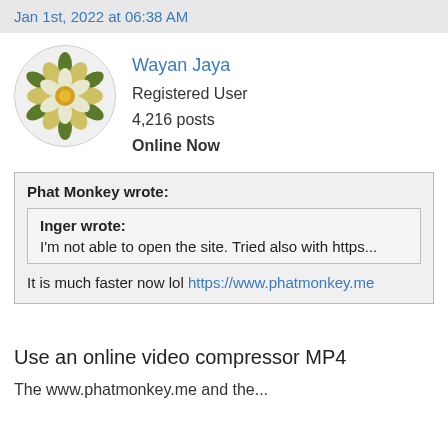Jan 1st, 2022 at 06:38 AM
[Figure (illustration): Circular avatar showing a stylized Yorkshire rose (white and gold flower with green leaves) on a light background]
Wayan Jaya
Registered User
4,216 posts
Online Now
Phat Monkey wrote:
Inger wrote:
I'm not able to open the site. Tried also with https...
It is much faster now lol https://www.phatmonkey.me
Use an online video compressor MP4
The www.phatmonkey.me and the...